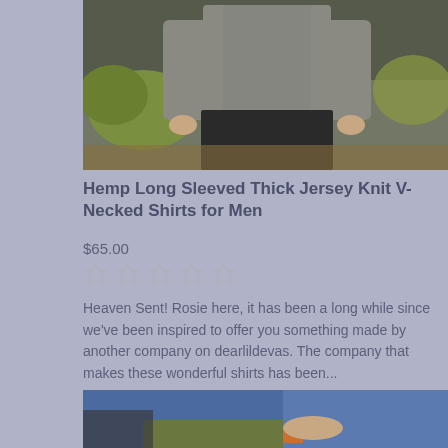[Figure (photo): Man wearing a grey long-sleeved hemp jersey knit V-neck shirt, standing outdoors with dark pants and vegetation/chain-link fence in background]
Hemp Long Sleeved Thick Jersey Knit V-Necked Shirts for Men
$65.00
[Figure (other): Five empty star rating icons]
Heaven Sent! Rosie here, it has been a long while since we've been inspired to offer you something made by another company on dearlildevas. The company that makes these wonderful shirts has been...
[Figure (photo): Person wearing a blue shirt holding something, partial view]